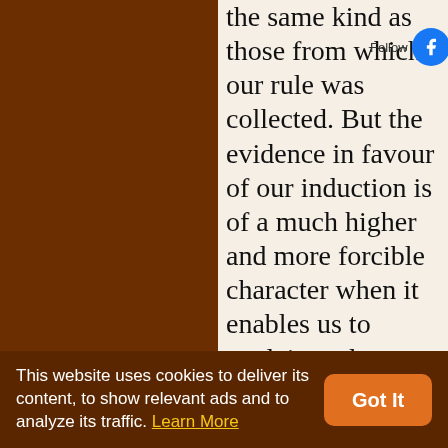the same kind as those from which our rule was collected. But the evidence in favour of our induction is of a much higher and more forcible character when it enables us to explain and determine cases of a kind different from those which were contemplated in the formation of our hypothesis. The instances in which this has occurred, indeed, have been so decisive as to deliver its content, to the truth that the hypothesis is certain. No accident
This website uses cookies to deliver its content, to show relevant ads and to analyze its traffic. Learn More